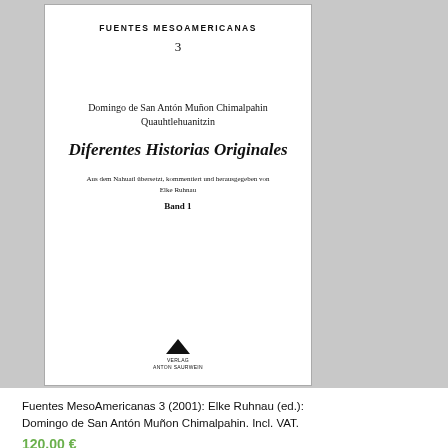[Figure (illustration): Book cover thumbnail for 'Diferentes Historias Originales' from the Fuentes MesoAmericanas series, showing the cover page with series title, number, author name, book title in bold italic, subtitle, volume number, and publisher logo on white background.]
Fuentes MesoAmericanas 3 (2001): Elke Ruhnau (ed.): Domingo de San Antón Muñon Chimalpahin. Incl. VAT.
120,00 €